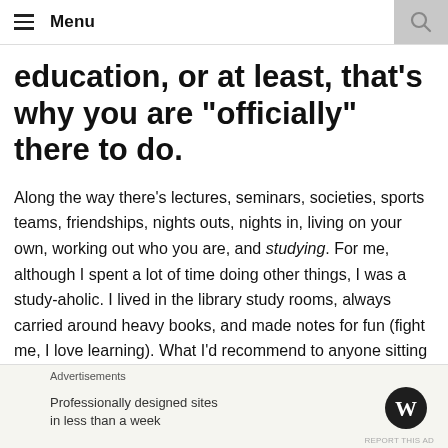Menu
education, or at least, that’s why you are “official” there to do.
Along the way there’s lectures, seminars, societies, sports teams, friendships, nights outs, nights in, living on your own, working out who you are, and studying. For me, although I spent a lot of time doing other things, I was a study-aholic. I lived in the library study rooms, always carried around heavy books, and made notes for fun (fight me, I love learning). What I’d recommend to anyone sitting down to study, and something I wish I started doing sooner, is simply have a break.
Advertisements
Professionally designed sites in less than a week